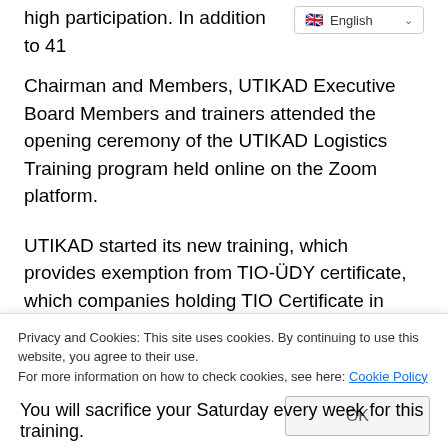high participation. In addition to 41 Chairman and Members, UTIKAD Executive Board Members and trainers attended the opening ceremony of the UTIKAD Logistics Training program held online on the Zoom platform.
[Figure (screenshot): Language selector dropdown showing English with flag icon and chevron]
UTIKAD started its new training, which provides exemption from TIO-ÜDY certificate, which companies holding TIO Certificate in accordance with TIO Regulation, started on Saturday, November 41 with 7 participants. At the opening ceremony of UTIKAD Logistics Training, which will be held on Saturdays for 7 hours only on Saturdays between 2020 November 26 - 2021 June 6, UTIKAD Chairman Emre Eldener made the opening speech. Stating that this training organized
You will sacrifice your Saturday every week for this training.
Privacy and Cookies: This site uses cookies. By continuing to use this website, you agree to their use.
For more information on how to check cookies, see here: Cookie Policy